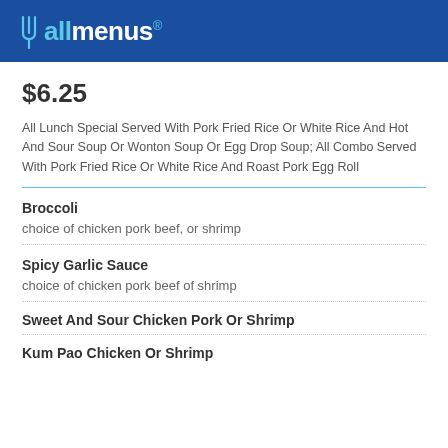[Figure (logo): allmenus logo with fork and knife icon on blue background]
$6.25
All Lunch Special Served With Pork Fried Rice Or White Rice And Hot And Sour Soup Or Wonton Soup Or Egg Drop Soup; All Combo Served With Pork Fried Rice Or White Rice And Roast Pork Egg Roll
Broccoli
choice of chicken pork beef, or shrimp
Spicy Garlic Sauce
choice of chicken pork beef of shrimp
Sweet And Sour Chicken Pork Or Shrimp
Kum Pao Chicken Or Shrimp